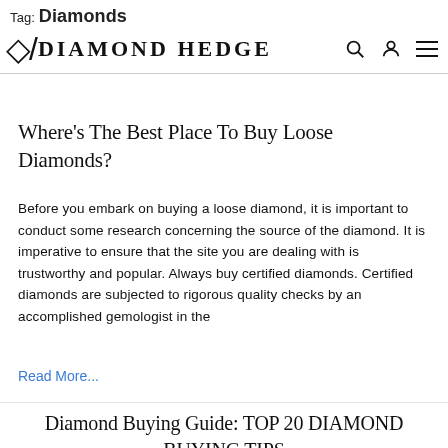Tag: Diamonds
DH / DIAMOND HEDGE
Where's The Best Place To Buy Loose Diamonds?
Before you embark on buying a loose diamond, it is important to conduct some research concerning the source of the diamond. It is imperative to ensure that the site you are dealing with is trustworthy and popular. Always buy certified diamonds. Certified diamonds are subjected to rigorous quality checks by an accomplished gemologist in the
Read More...
Diamond Buying Guide: TOP 20 DIAMOND BUYING TIPS